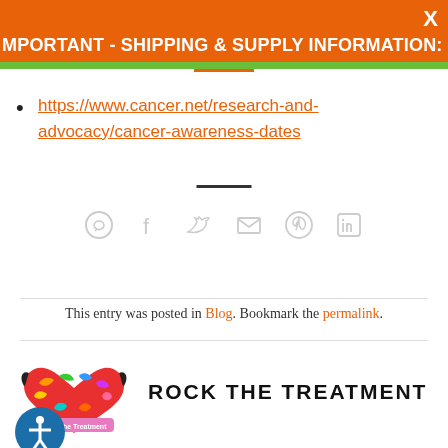IMPORTANT - SHIPPING & SUPPLY INFORMATION: CLICK HERE
https://www.cancer.net/research-and-advocacy/cancer-awareness-dates
This entry was posted in Blog. Bookmark the permalink.
[Figure (logo): Rock the Treatment colorful heart-shaped logo with text 'Rock the Treatment']
ROCK THE TREATMENT